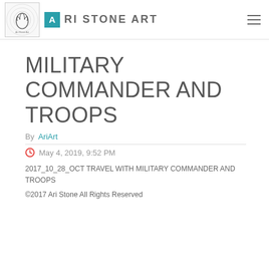Ari Stone Art — ARI STONE ART
MILITARY COMMANDER AND TROOPS
By AriArt
May 4, 2019, 9:52 PM
2017_10_28_OCT TRAVEL WITH MILITARY COMMANDER AND TROOPS
©2017 Ari Stone All Rights Reserved